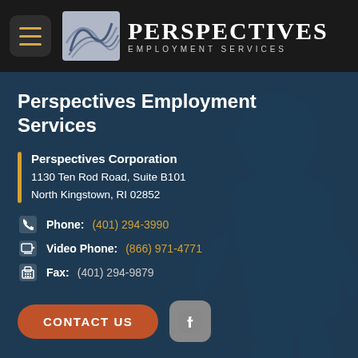[Figure (logo): Perspectives Employment Services logo with hamburger menu icon, decorative logo image, and text 'PERSPECTIVES EMPLOYMENT SERVICES' on dark background]
Perspectives Employment Services
Perspectives Corporation
1130 Ten Rod Road, Suite B101
North Kingstown, RI 02852
Phone: (401) 294-3990
Video Phone: (866) 971-4771
Fax: (401) 294-9879
CONTACT US